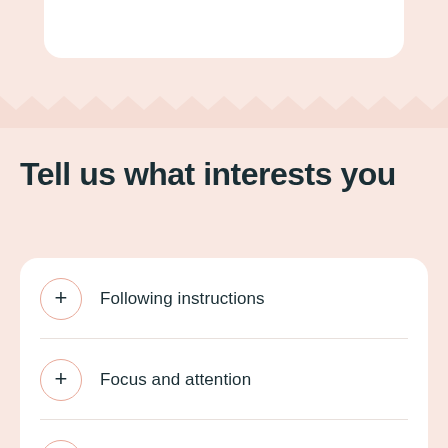Tell us what interests you
Following instructions
Focus and attention
Personal stories